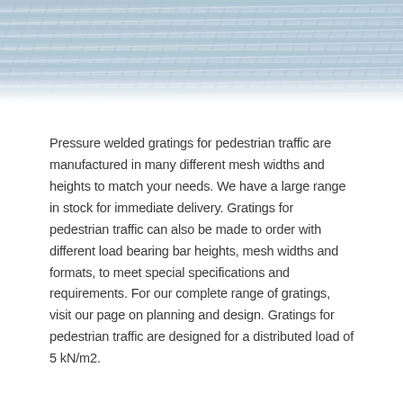[Figure (photo): Close-up aerial/top-down photograph of metal pressure welded grating mesh, showing a grid pattern of steel bars. The image has a blue-grey metallic tone and fills the top portion of the page.]
Pressure welded gratings for pedestrian traffic are manufactured in many different mesh widths and heights to match your needs. We have a large range in stock for immediate delivery. Gratings for pedestrian traffic can also be made to order with different load bearing bar heights, mesh widths and formats, to meet special specifications and requirements. For our complete range of gratings, visit our page on planning and design. Gratings for pedestrian traffic are designed for a distributed load of 5 kN/m2.